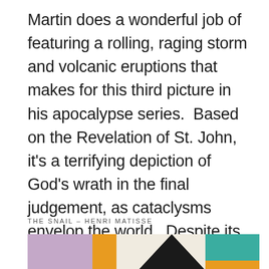Martin does a wonderful job of featuring a rolling, raging storm and volcanic eruptions that makes for this third picture in his apocalypse series.  Based on the Revelation of St. John, it's a terrifying depiction of God's wrath in the final judgement, as cataclysms envelop the world.  Despite its having been painted in the 19th Century, the painting apparently moves between this museum and the Tate.
THE SNAIL – HENRI MATISSE
[Figure (illustration): Partial view of Henri Matisse's 'The Snail' artwork showing colorful geometric cut-paper shapes including lavender, black, cream/white, and teal/green rectangles on an orange/amber background.]